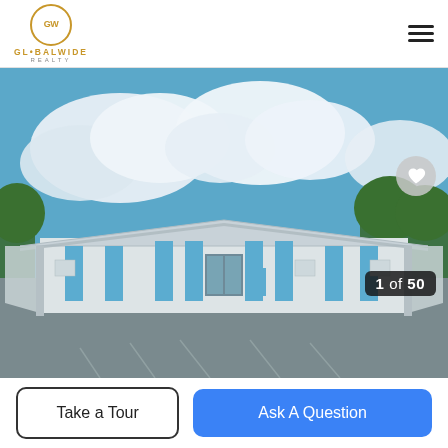GLOBALWIDE REALTY
[Figure (photo): Exterior photo of a large white commercial building with blue accent panels and a wide overhanging roof, viewed from a large asphalt parking lot. Blue sky with white clouds visible above. Image counter shows 1 of 50 in lower right corner.]
1 of 50
Take a Tour
Ask A Question